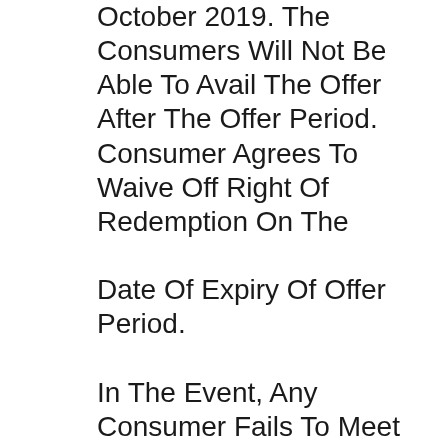October 2019. The Consumers Will Not Be Able To Avail The Offer After The Offer Period. Consumer Agrees To Waive Off Right Of Redemption On The

Date Of Expiry Of Offer Period.

In The Event, Any Consumer Fails To Meet Any Of The Above Stated Eligibility Criteria Or Any Term Under These Offer Terms, He/she Will Not Be Eligible To Receive The Benefit Under This Offer. By Participating In This Offer, You